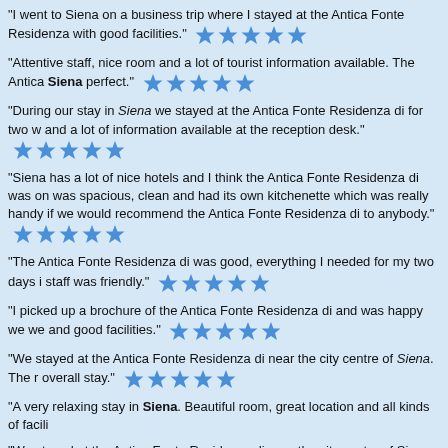"I went to Siena on a business trip where I stayed at the Antica Fonte Residenza with good facilities." ★★★★★
"Attentive staff, nice room and a lot of tourist information available. The Antica Siena perfect." ★★★★★
"During our stay in Siena we stayed at the Antica Fonte Residenza di for two we and a lot of information available at the reception desk." ★★★★★
"Siena has a lot of nice hotels and I think the Antica Fonte Residenza di was on was spacious, clean and had its own kitchenette which was really handy if we would recommend the Antica Fonte Residenza di to anybody." ★★★★★
"The Antica Fonte Residenza di was good, everything I needed for my two days i staff was friendly." ★★★★★
"I picked up a brochure of the Antica Fonte Residenza di and was happy we we and good facilities." ★★★★★
"We stayed at the Antica Fonte Residenza di near the city centre of Siena. The r overall stay." ★★★★★
"A very relaxing stay in Siena. Beautiful room, great location and all kinds of facili
"We stayed at the Antica Fonte Residenza di near the city centre of Siena. The r overall stay." ★★★★★